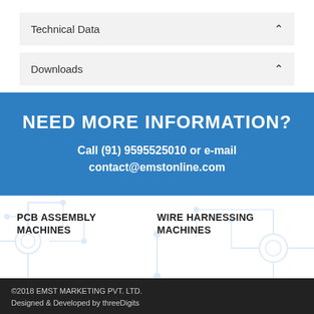Technical Data
Downloads
NEED MORE INFORMATION?
Call (91) 9595525010 or e-mail contact@emstonline.com
PCB ASSEMBLY MACHINES
WIRE HARNESSING MACHINES
©2018 EMST MARKETING PVT. LTD.
Designed & Developed by threeDigits